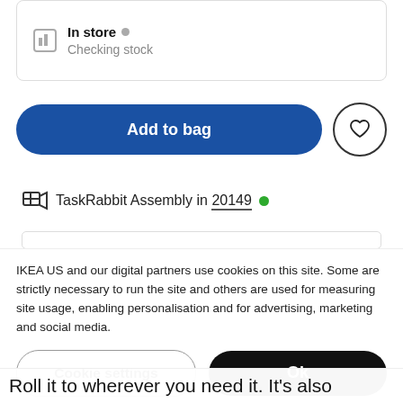In store • Checking stock
Add to bag
TaskRabbit Assembly in 20149 •
IKEA US and our digital partners use cookies on this site. Some are strictly necessary to run the site and others are used for measuring site usage, enabling personalisation and for advertising, marketing and social media.
Cookie settings
Ok
Roll it to wherever you need it. It's also